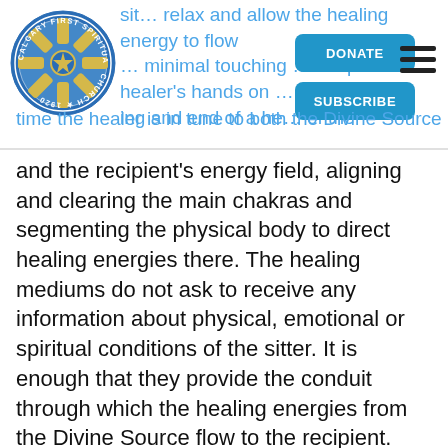[Figure (logo): Calgary First Spiritualist Church 1920 circular logo — blue circle with yellow cross and star design]
sit… relax and allow the healing energy to flow … minimal touching … recipients. healer's hands on … ing and end of a he… of the time the healer is in tune to both the Divine Source
and the recipient's energy field, aligning and clearing the main chakras and segmenting the physical body to direct healing energies there. The healing mediums do not ask to receive any information about physical, emotional or spiritual conditions of the sitter. It is enough that they provide the conduit through which the healing energies from the Divine Source flow to the recipient. Each healing takes five to 10 minutes to complete.